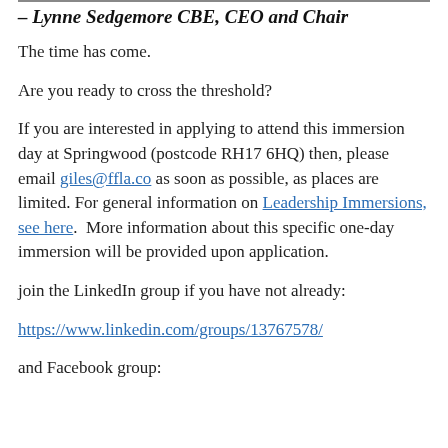– Lynne Sedgemore CBE, CEO and Chair
The time has come.
Are you ready to cross the threshold?
If you are interested in applying to attend this immersion day at Springwood (postcode RH17 6HQ) then, please email giles@ffla.co as soon as possible, as places are limited. For general information on Leadership Immersions, see here.  More information about this specific one-day immersion will be provided upon application.
join the LinkedIn group if you have not already:
https://www.linkedin.com/groups/13767578/
and Facebook group: